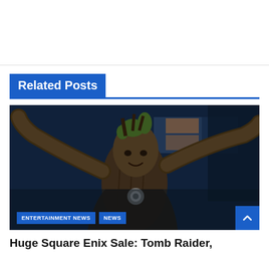Related Posts
[Figure (screenshot): Video game character Groot from Marvel's Guardians of the Galaxy game, depicted in a dark blue industrial setting, arms raised, with bark-like skin and foliage on head. Tags 'ENTERTAINMENT NEWS' and 'NEWS' are overlaid at the bottom left. A blue scroll-to-top arrow button is at the bottom right.]
Huge Square Enix Sale: Tomb Raider,